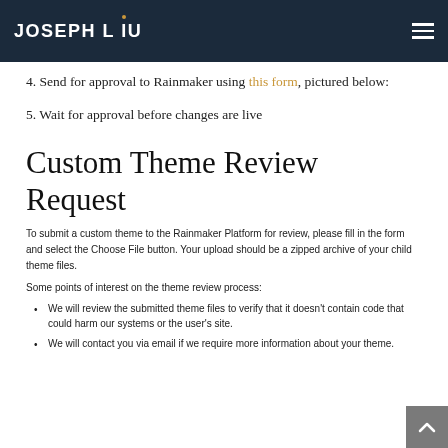JOSEPH LIU
4. Send for approval to Rainmaker using this form, pictured below:
5. Wait for approval before changes are live
Custom Theme Review Request
To submit a custom theme to the Rainmaker Platform for review, please fill in the form and select the Choose File button. Your upload should be a zipped archive of your child theme files.
Some points of interest on the theme review process:
We will review the submitted theme files to verify that it doesn't contain code that could harm our systems or the user's site.
We will contact you via email if we require more information about your theme.